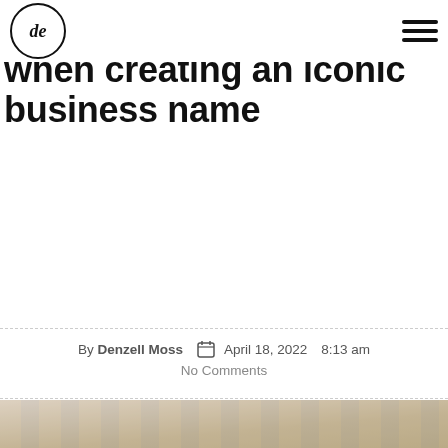de (logo) | hamburger menu
Five important tips to follow when creating an iconic business name
By Denzell Moss  April 18, 2022  8:13 am
No Comments
[Figure (photo): Person in beige shirt holding a white smartphone and a stylus/pen, photographed from chest down against a striped background]